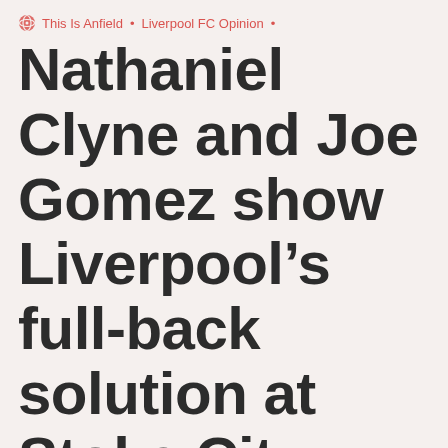This Is Anfield • Liverpool FC Opinion •
Nathaniel Clyne and Joe Gomez show Liverpool's full-back solution at Stoke City
August 10, 2015
[Figure (other): Social share buttons: Facebook, Twitter, WhatsApp, Email]